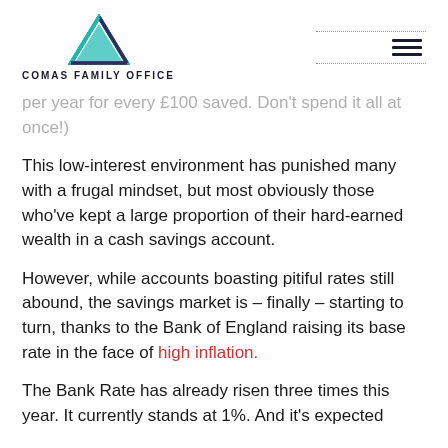COMAS FAMILY OFFICE
per year for every £100 saved. Don't spend it all at once!)
This low-interest environment has punished many with a frugal mindset, but most obviously those who've kept a large proportion of their hard-earned wealth in a cash savings account.
However, while accounts boasting pitiful rates still abound, the savings market is – finally – starting to turn, thanks to the Bank of England raising its base rate in the face of high inflation.
The Bank Rate has already risen three times this year. It currently stands at 1%. And it's expected